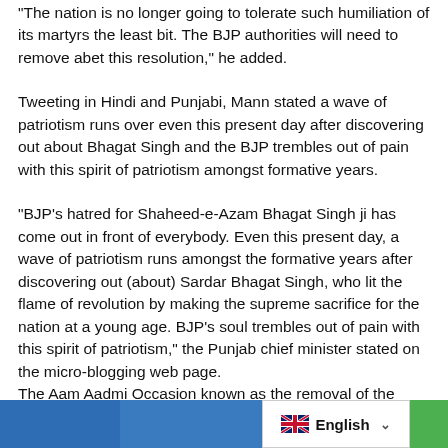“The nation is no longer going to tolerate such humiliation of its martyrs the least bit. The BJP authorities will need to remove abet this resolution,” he added.
Tweeting in Hindi and Punjabi, Mann stated a wave of patriotism runs over even this present day after discovering out about Bhagat Singh and the BJP trembles out of pain with this spirit of patriotism amongst formative years.
“BJP’s hatred for Shaheed-e-Azam Bhagat Singh ji has come out in front of everybody. Even this present day, a wave of patriotism runs amongst the formative years after discovering out (about) Sardar Bhagat Singh, who lit the flame of revolution by making the supreme sacrifice for the nation at a young age. BJP’s soul trembles out of pain with this spirit of patriotism,” the Punjab chief minister stated on the micro-blogging web page.
The Aam Aadmi Occasion known as the removal of the
[Figure (other): Bottom bar with social share buttons (blue) and a language selector showing English with UK flag and dropdown arrow, plus a green button on the right.]